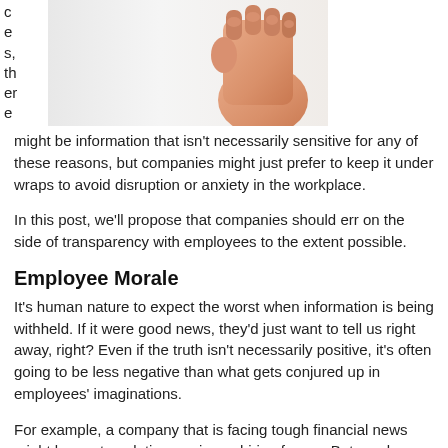c
e
s,
th
er
e
[Figure (photo): A raised fist or open hand photographed against a white/light background, showing the palm and fingers from below.]
might be information that isn't necessarily sensitive for any of these reasons, but companies might just prefer to keep it under wraps to avoid disruption or anxiety in the workplace.
In this post, we'll propose that companies should err on the side of transparency with employees to the extent possible.
Employee Morale
It's human nature to expect the worst when information is being withheld. If it were good news, they'd just want to tell us right away, right? Even if the truth isn't necessarily positive, it's often going to be less negative than what gets conjured up in employees' imaginations.
For example, a company that is facing tough financial news might be contemplating a raise or hiring freeze. But employees might